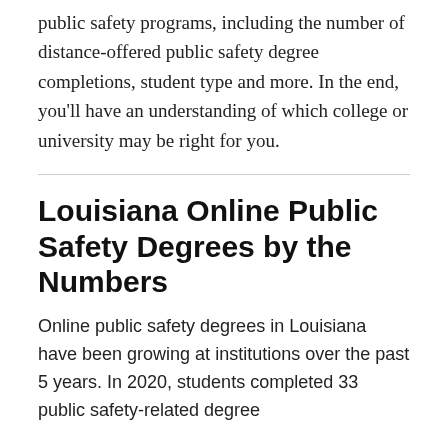public safety programs, including the number of distance-offered public safety degree completions, student type and more. In the end, you'll have an understanding of which college or university may be right for you.
Louisiana Online Public Safety Degrees by the Numbers
Online public safety degrees in Louisiana have been growing at institutions over the past 5 years. In 2020, students completed 33 public safety-related degree